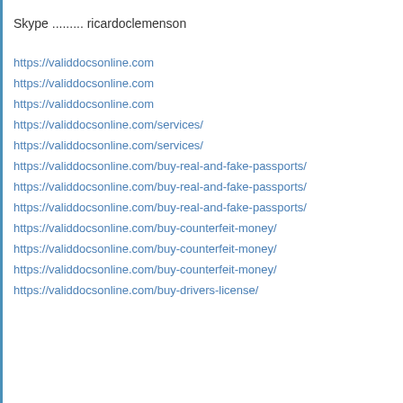Skype ......... ricardoclemenson
https://validdocsonline.com
https://validdocsonline.com
https://validdocsonline.com
https://validdocsonline.com/services/
https://validdocsonline.com/services/
https://validdocsonline.com/buy-real-and-fake-passports/
https://validdocsonline.com/buy-real-and-fake-passports/
https://validdocsonline.com/buy-real-and-fake-passports/
https://validdocsonline.com/buy-counterfeit-money/
https://validdocsonline.com/buy-counterfeit-money/
https://validdocsonline.com/buy-counterfeit-money/
https://validdocsonline.com/buy-drivers-license/